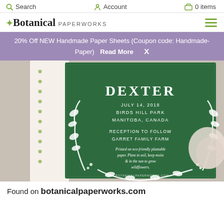Search   Account   0 items
Botanical PAPERWORKS
20% Off NEW Handmade Paper Sheets (Coupon code: Handmade-Paper)   Read More   X
[Figure (photo): Green plantable seed paper wedding invitation card with white botanical wreath illustration and text: DEXTER, JULY 14, 2018, BIRDS HILL PARK, MANITOBA, CANADA, RECEPTION TO FOLLOW, GARRET FAMILY FARM. Printed on eco-friendly plantable paper. Plant in soil, keep moist & in the sun to grow wildflowers. www.botanicalpaperworks.com — shown on a surface with beige paper and a decorative object.]
Found on botanicalpaperworks.com